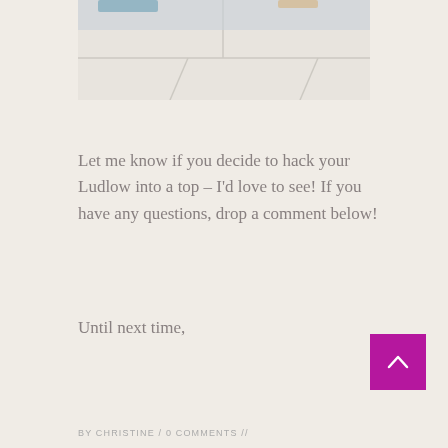[Figure (photo): Cropped photo of a light-colored tiled floor with a small portion of an object visible at the top, photographed from above.]
Let me know if you decide to hack your Ludlow into a top – I'd love to see! If you have any questions, drop a comment below!
Until next time,
BY CHRISTINE / 0 COMMENTS //